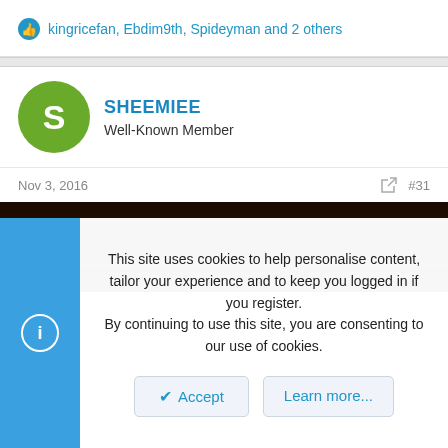kingricefan, Ebdim9th, Spideyman and 2 others
SHEEMIEE
Well-Known Member
Nov 3, 2016
#31
[Figure (photo): Dark brown wooden surface or background image, nearly black at top and bottom]
This site uses cookies to help personalise content, tailor your experience and to keep you logged in if you register.
By continuing to use this site, you are consenting to our use of cookies.
Accept
Learn more...